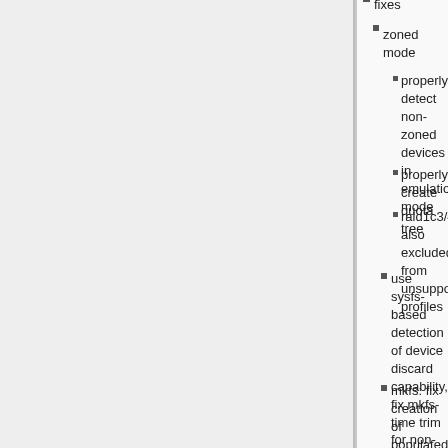fixes
zoned mode
properly detect non-zoned devices in emulation mode
properly create quota tree
raid1c3/4 also excluded from unsupported profiles
use sysfs-based detection of device discard capability, fix mkfs-time trim for non-standard devices
mkfs: fix creation of populated filesystem with free space tree
detect multipath devices (needs libudev)
replace start: add option -K/--nodiscard, similar to what mkfs or device add has
dump-tree: print complete root_item
mkfs: add option --verbose
sb-mod: better help, no checksum calculation on read-only actions
subvol show:
print more information (regarding send and receive)